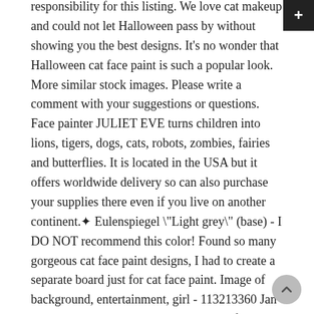responsibility for this listing. We love cat makeup and could not let Halloween pass by without showing you the best designs. It's no wonder that Halloween cat face paint is such a popular look. More similar stock images. Please write a comment with your suggestions or questions. Face painter JULIET EVE turns children into lions, tigers, dogs, cats, robots, zombies, fairies and butterflies. It is located in the USA but it offers worldwide delivery so can also purchase your supplies there even if you live on another continent.✦ Eulenspiegel \"Light grey\" (base) - I DO NOT recommend this color! Found so many gorgeous cat face paint designs, I had to create a separate board just for cat face paint. Image of background, entertainment, girl - 113213360 Jan 20, 2020 - Found so many gorgeous cat face paint designs, I had to create a separate board just for cat face paint. Discover (and save!) We get it, but don't be a scaredy cat. Step 1: Using a round brush, put a white face paint outline for cat ears on the forehead and continue with white face paint down the nose and upper lip; leave space over eyebrows. 3:19. Assembled. Face painting feels intimidating, you say? Image of human, lifestyle, party - 86261043 Pretty Girl Face Painting Cat Stock Photo (Edit Now) 122396260. Nov 15, 20 Explore nina k's board "cat face painting" on Pinterest. Little girl playing soap bubbles with her do... They're perfect for any